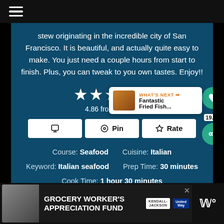☰ (hamburger menu icon)
stew originating in the incredible city of San Francisco. It is beautiful, and actually quite easy to make. You just need a couple hours from start to finish. Plus, you can tweak to you own tastes. Enjoy!!
[Figure (other): Five white star rating icons]
4.86 from 7 votes
[Print button] [Pin button] [Rate button]
Course: Seafood  Cuisine: Italian
Keyword: Italian seafood  Prep Time: 30 minutes
Cook Time: 1 hour 30 minutes
Total Time: 2 hours  Servings: 6 people
Calories: 280kcal  Author: Kris Longwell
[Figure (infographic): What's Next panel with burger image, text: Fantastic Fried Fish...]
[Figure (infographic): Advertisement: GROCERY WORKER'S APPRECIATION FUND with Kendall-Jackson and United Way logos]